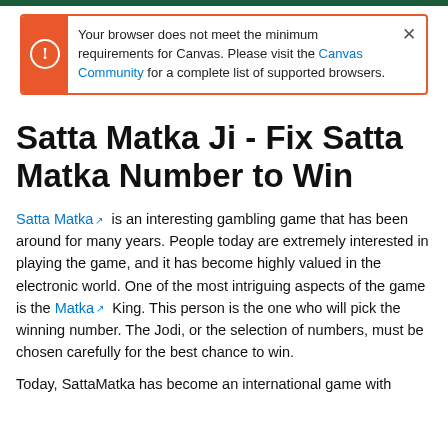Your browser does not meet the minimum requirements for Canvas. Please visit the Canvas Community for a complete list of supported browsers.
Satta Matka Ji - Fix Satta Matka Number to Win
Satta Matka is an interesting gambling game that has been around for many years. People today are extremely interested in playing the game, and it has become highly valued in the electronic world. One of the most intriguing aspects of the game is the Matka King. This person is the one who will pick the winning number. The Jodi, or the selection of numbers, must be chosen carefully for the best chance to win.
Today, SattaMatka has become an international game with